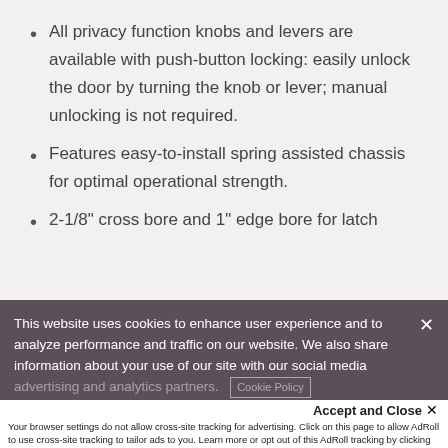All privacy function knobs and levers are available with push-button locking: easily unlock the door by turning the knob or lever; manual unlocking is not required.
Features easy-to-install spring assisted chassis for optimal operational strength.
2-1/8" cross bore and 1" edge bore for latch
This website uses cookies to enhance user experience and to analyze performance and traffic on our website. We also share information about your use of our site with our social media advertising and analytics partners.
Accept and Close ✕
Your browser settings do not allow cross-site tracking for advertising. Click on this page to allow AdRoll to use cross-site tracking to tailor ads to you. Learn more or opt out of this AdRoll tracking by clicking here. This message only appears once.